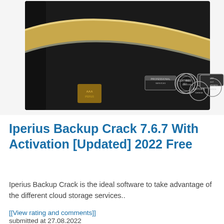[Figure (photo): A dark software product box with gold and silver diagonal stripe design, featuring certification badges and logos on the front face. The box is black with gold ribbon and small circular/rectangular certification icons.]
Iperius Backup Crack 7.6.7 With Activation [Updated] 2022 Free
Iperius Backup Crack is the ideal software to take advantage of the different cloud storage services..
[[View rating and comments]]
submitted at 27.08.2022